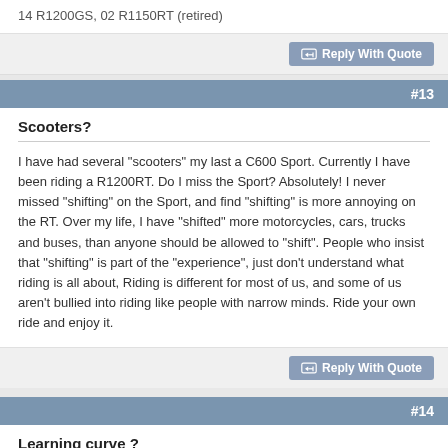14 R1200GS, 02 R1150RT (retired)
Reply With Quote
#13
Scooters?
I have had several "scooters" my last a C600 Sport. Currently I have been riding a R1200RT. Do I miss the Sport? Absolutely! I never missed "shifting" on the Sport, and find "shifting" is more annoying on the RT. Over my life, I have "shifted" more motorcycles, cars, trucks and buses, than anyone should be allowed to "shift". People who insist that "shifting" is part of the "experience", just don't understand what riding is all about, Riding is different for most of us, and some of us aren't bullied into riding like people with narrow minds. Ride your own ride and enjoy it.
Reply With Quote
#14
Learning curve ?
Ride a dirt bike.